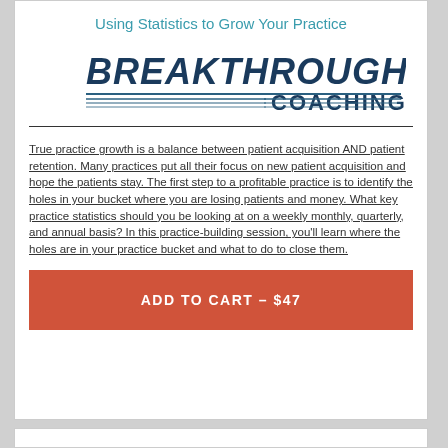Using Statistics to Grow Your Practice
[Figure (logo): BREAKTHROUGH COACHING logo with horizontal lines decoration]
True practice growth is a balance between patient acquisition AND patient retention. Many practices put all their focus on new patient acquisition and hope the patients stay. The first step to a profitable practice is to identify the holes in your bucket where you are losing patients and money. What key practice statistics should you be looking at on a weekly monthly, quarterly, and annual basis? In this practice-building session, you’ll learn where the holes are in your practice bucket and what to do to close them.
ADD TO CART - $47